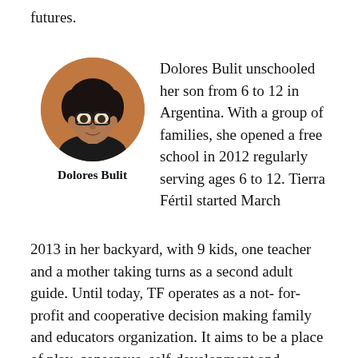futures.
[Figure (photo): Circular portrait photo of Dolores Bulit, a woman with curly dark hair and glasses, against a warm orange/brown background]
Dolores Bulit
Dolores Bulit unschooled her son from 6 to 12 in Argentina. With a group of families, she opened a free school in 2012 regularly serving ages 6 to 12. Tierra Fértil started March 2013 in her backyard, with 9 kids, one teacher and a mother taking turns as a second adult guide. Until today, TF operates as a not- for-profit and cooperative decision making family and educators organization. It aims to be a place of play, consensus, self-development and creation, different from school as a sole knowledge reproduction system. Still not